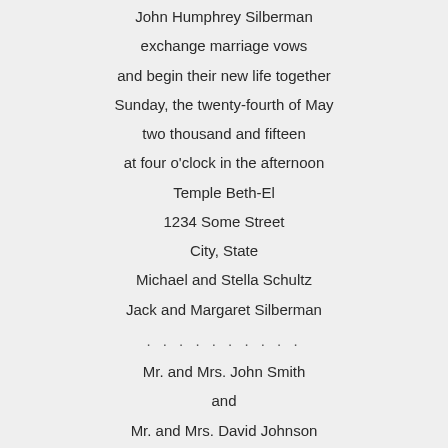John Humphrey Silberman
exchange marriage vows
and begin their new life together
Sunday, the twenty-fourth of May
two thousand and fifteen
at four o'clock in the afternoon
Temple Beth-El
1234 Some Street
City, State
Michael and Stella Schultz
Jack and Margaret Silberman
. . . . . . . . . .
Mr. and Mrs. John Smith
and
Mr. and Mrs. David Johnson